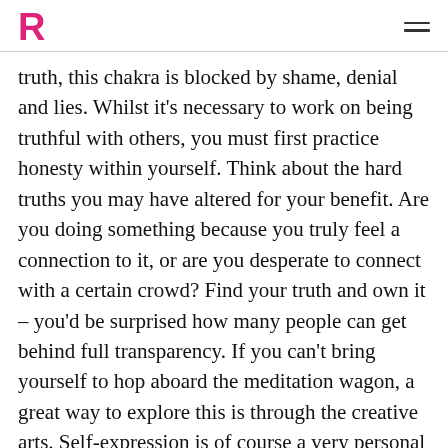R
truth, this chakra is blocked by shame, denial and lies. Whilst it's necessary to work on being truthful with others, you must first practice honesty within yourself. Think about the hard truths you may have altered for your benefit. Are you doing something because you truly feel a connection to it, or are you desperate to connect with a certain crowd? Find your truth and own it – you'd be surprised how many people can get behind full transparency. If you can't bring yourself to hop aboard the meditation wagon, a great way to explore this is through the creative arts. Self-expression is of course a very personal thing – products of it don't have to resonate with or make sense to other people (you do you boo). When this chakra is open, you can express yourself with ease, through all sorts of mediums. If